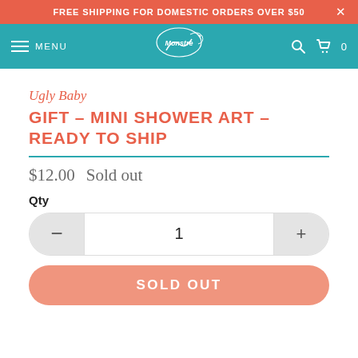FREE SHIPPING FOR DOMESTIC ORDERS OVER $50
[Figure (screenshot): Website navigation bar with hamburger menu (MENU), Monstre logo in center, search and cart icons on right, teal background]
Ugly Baby
GIFT – MINI SHOWER ART – READY TO SHIP
$12.00  Sold out
Qty
1
SOLD OUT